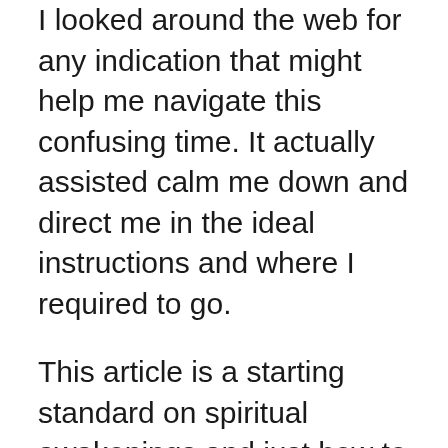I looked around the web for any indication that might help me navigate this confusing time. It actually assisted calm me down and direct me in the ideal instructions and where I required to go.
This article is a starting standard on spiritual awakenings and just how to browse them yet if you need to know if your on the course of becoming emotionally awake( or on a various path in life) take this Soul Reading Test Completely free and also very accurate. you'll be shocked at exactly how excellent it remains in telling you where you remain in your life and where your headed.